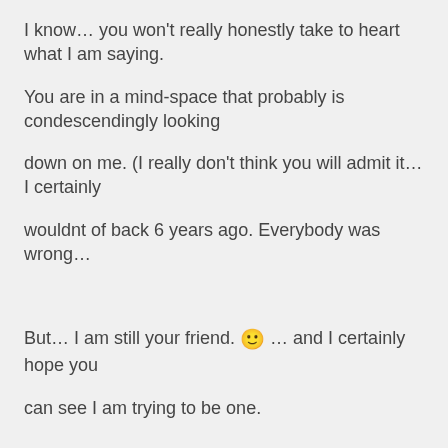I know… you won't really honestly take to heart what I am saying.
You are in a mind-space that probably is condescendingly looking
down on me.  (I really don't think you will admit it… I certainly
wouldnt of back 6 years ago.  Everybody was wrong…
But… I am still your friend.  🙂  … and I certainly hope you can see I am trying to be one.